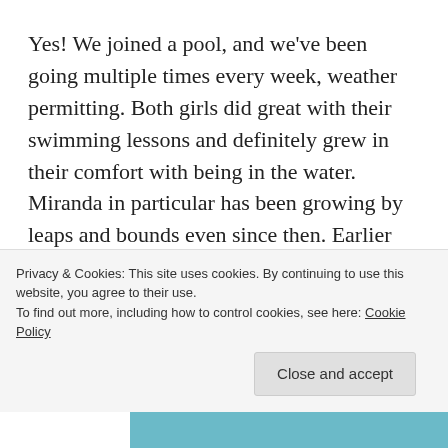Yes! We joined a pool, and we've been going multiple times every week, weather permitting. Both girls did great with their swimming lessons and definitely grew in their comfort with being in the water. Miranda in particular has been growing by leaps and bounds even since then. Earlier this week she was celebrating her ability to put her head under the water unasked and without plugging her nose by doing it over and over again. I'm really happy that they're making progress toward
Privacy & Cookies: This site uses cookies. By continuing to use this website, you agree to their use.
To find out more, including how to control cookies, see here: Cookie Policy
Close and accept